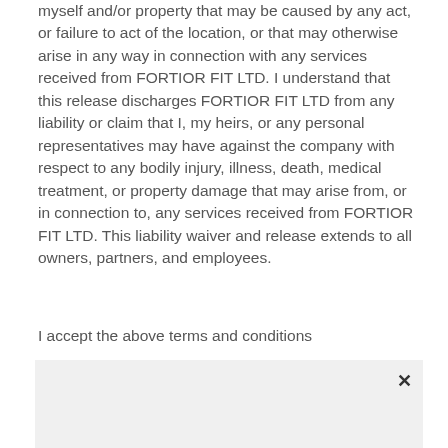myself and/or property that may be caused by any act, or failure to act of the location, or that may otherwise arise in any way in connection with any services received from FORTIOR FIT LTD. I understand that this release discharges FORTIOR FIT LTD from any liability or claim that I, my heirs, or any personal representatives may have against the company with respect to any bodily injury, illness, death, medical treatment, or property damage that may arise from, or in connection to, any services received from FORTIOR FIT LTD. This liability waiver and release extends to all owners, partners, and employees.
I accept the above terms and conditions
[Figure (other): Signature input box with a close/clear X button in the top right corner, light gray background]